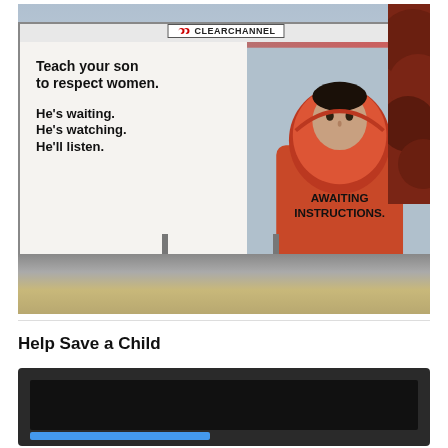[Figure (photo): Photograph of a ClearChannel billboard outdoors. The billboard displays a boy in an orange hoodie with text reading: 'Teach your son to respect women. He's waiting. He's watching. He'll listen.' and on the hoodie 'AWAITING INSTRUCTIONS.' The billboard is mounted on poles above a railing/fence structure with trees visible on the right side.]
Help Save a Child
[Figure (screenshot): Partial screenshot of a video or web interface with dark background, showing a black screen area and a blue bar at the bottom, partially cut off.]